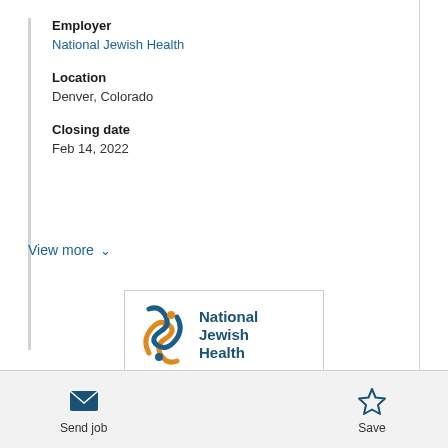Employer
National Jewish Health
Location
Denver, Colorado
Closing date
Feb 14, 2022
View more
[Figure (logo): National Jewish Health logo with blue and orange swoosh/DNA helix icon and blue bold text reading National Jewish Health]
Send job
Save